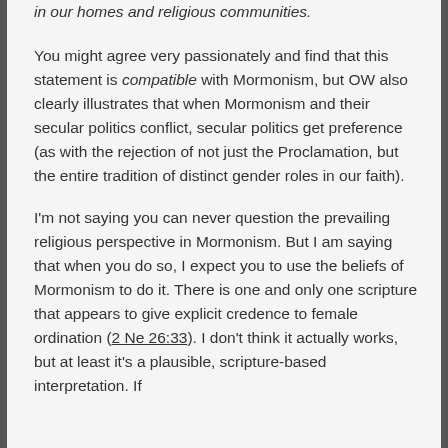in our homes and religious communities.
You might agree very passionately and find that this statement is compatible with Mormonism, but OW also clearly illustrates that when Mormonism and their secular politics conflict, secular politics get preference (as with the rejection of not just the Proclamation, but the entire tradition of distinct gender roles in our faith).
I'm not saying you can never question the prevailing religious perspective in Mormonism. But I am saying that when you do so, I expect you to use the beliefs of Mormonism to do it. There is one and only one scripture that appears to give explicit credence to female ordination (2 Ne 26:33). I don't think it actually works, but at least it's a plausible, scripture-based interpretation. If